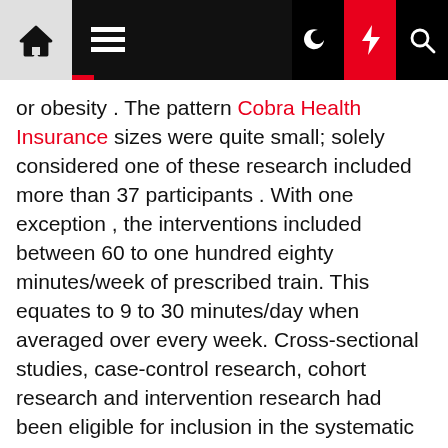Navigation bar with home, menu, dark mode, lightning/flash, and search icons
or obesity . The pattern Cobra Health Insurance sizes were quite small; solely considered one of these research included more than 37 participants . With one exception , the interventions included between 60 to one hundred eighty minutes/week of prescribed train. This equates to 9 to 30 minutes/day when averaged over every week. Cross-sectional studies, case-control research, cohort research and intervention research had been eligible for inclusion in the systematic evaluation.
Cleveland Clinic continues to offer the most up to date PPE tips to keep our caregivers and our members/patients and shoppers safe. In addition to our enhanced safety and cleaning procedures, all members are required to put on face covering always while in the facility. For many people, our